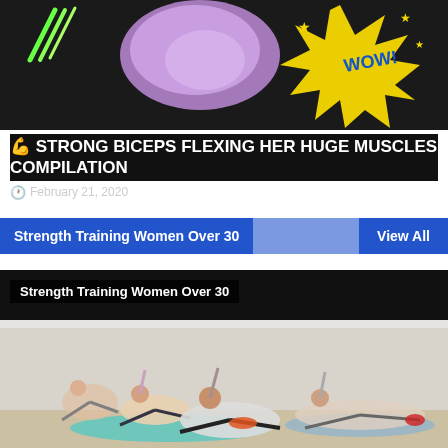[Figure (screenshot): Top portion of a video thumbnail showing a woman flexing muscles with a yellow 'WOW!' comic burst on a dark background]
💪 STRONG BICEPS FLEXING HER HUGE MUSCLES COMPILATION
🕐 February 21, 2020
Strength Training Women Over 30
View All
[Figure (screenshot): Video thumbnail showing women doing side plank exercises with resistance bands on yoga mats in a bright studio, labeled 'Strength Training Women Over 30']